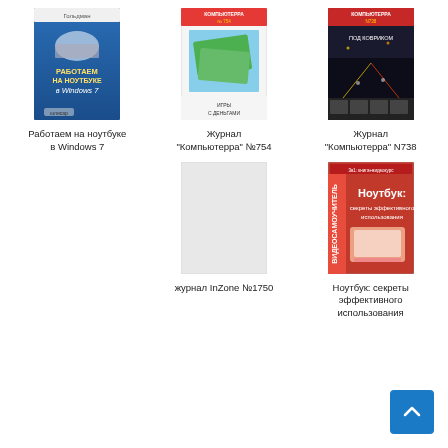[Figure (illustration): Book cover: Работаем на ноутбуке в Windows 7, blue cover with laptop]
[Figure (illustration): Magazine cover: Журнал Компьютерра №754, money/games theme]
[Figure (illustration): Magazine cover: Журнал Компьютерра N738, city at night]
Работаем на ноутбуке в Windows 7
Журнал "Компьютерра" №754
Журнал "Компьютерра" N738
[Figure (illustration): Blank/placeholder book cover, light gray]
[Figure (illustration): Book cover: Ноутбук: секреты эффективного использования, red and orange]
журнал InZone №1750
Ноутбук: секреты эффективного использования